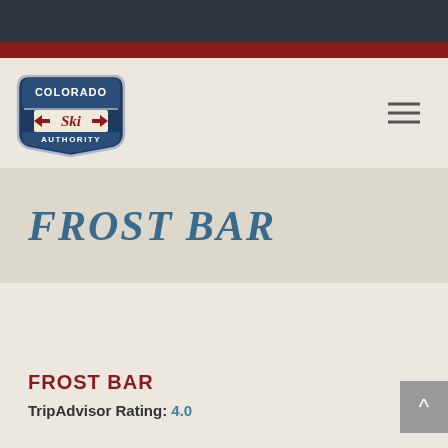[Figure (logo): Colorado Ski Authority logo — a retro badge shape in navy blue and white with red 'Ski' text and arrow motifs]
FROST BAR
FROST BAR
TripAdvisor Rating: 4.0